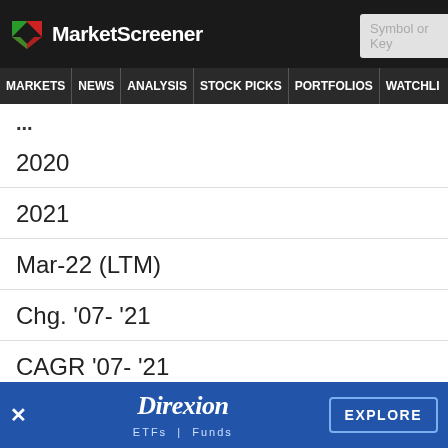MarketScreener — Symbol or Key
MARKETS  NEWS  ANALYSIS  STOCK PICKS  PORTFOLIOS  WATCHLI
...
2020
2021
Mar-22 (LTM)
Chg. '07- '21
CAGR '07- '21
1 2007 EBITDA adjusted for expenses related to the Company
This is an excerpt of the original content. To continue readi
× Direxion ETFs | Funds  EXPLORE